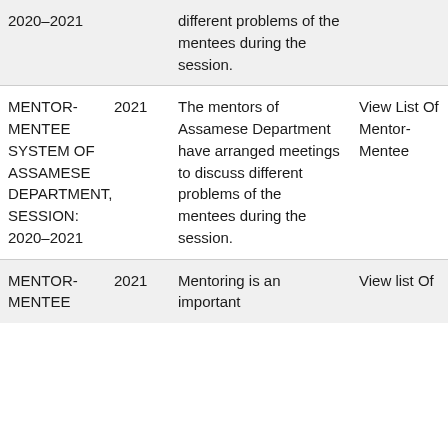| Name | Year | Description | Action1 | Action2 |
| --- | --- | --- | --- | --- |
| 2020-2021 |  | different problems of the mentees during the session. |  |  |
| MENTOR-MENTEE SYSTEM OF ASSAMESE DEPARTMENT, SESSION: 2020-2021 | 2021 | The mentors of Assamese Department have arranged meetings to discuss different problems of the mentees during the session. | View List Of Mentor-Mentee | View Det Of Sol Pro |
| MENTOR-MENTEE | 2021 | Mentoring is an important | View list Of | Vie Det |